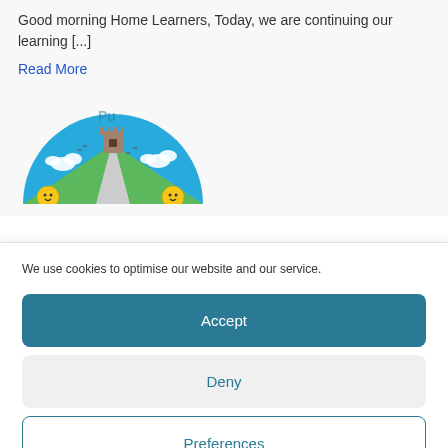Good morning Home Learners, Today, we are continuing our learning [...]
Read More
[Figure (illustration): Semi-circular children's illustration showing a road leading to a castle tower, with green hills, a blue sky with clouds, and two smiling sun/face characters at the bottom corners. Partially visible text 'Pu...' at the top.]
We use cookies to optimise our website and our service.
Accept
Deny
Preferences